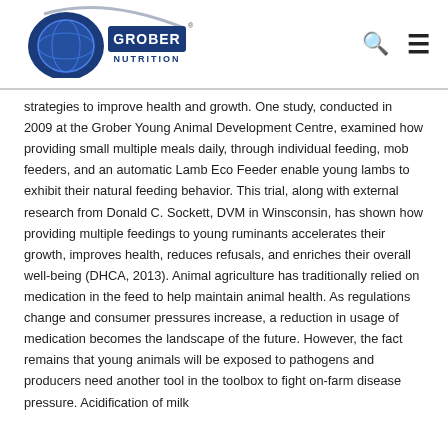[Figure (logo): Grober Nutrition logo — blue swoosh with globe and GROBER NUTRITION text]
strategies to improve health and growth. One study, conducted in 2009 at the Grober Young Animal Development Centre, examined how providing small multiple meals daily, through individual feeding, mob feeders, and an automatic Lamb Eco Feeder enable young lambs to exhibit their natural feeding behavior. This trial, along with external research from Donald C. Sockett, DVM in Winsconsin, has shown how providing multiple feedings to young ruminants accelerates their growth, improves health, reduces refusals, and enriches their overall well-being (DHCA, 2013). Animal agriculture has traditionally relied on medication in the feed to help maintain animal health. As regulations change and consumer pressures increase, a reduction in usage of medication becomes the landscape of the future. However, the fact remains that young animals will be exposed to pathogens and producers need another tool in the toolbox to fight on-farm disease pressure. Acidification of milk